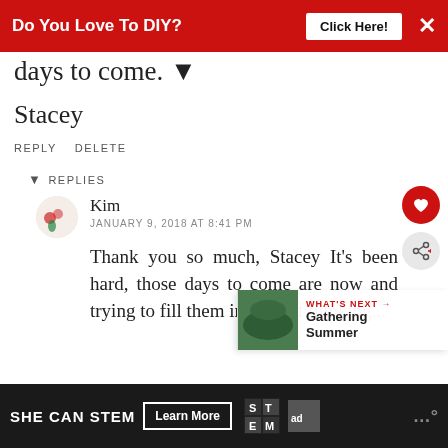[Figure (other): Red advertisement banner with text 'Do You Love To DIY?' and 'Click Here!' button and X close button]
days to come. ▼
Stacey
REPLY   DELETE
▼   REPLIES
Kim
JANUARY 9, 2018 AT 8:41 PM
Thank you so much, Stacey It's been hard, those days to come are now and trying to fill them instead of thinking...
[Figure (other): What's Next section with green thumbnail image, label 'WHAT'S NEXT →' and title 'Gathering Summer']
[Figure (other): Bottom advertisement banner: SHE CAN STEM with Learn More button, STEM logo, Ad Council logo]